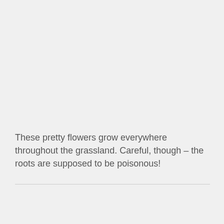These pretty flowers grow everywhere throughout the grassland. Careful, though – the roots are supposed to be poisonous!